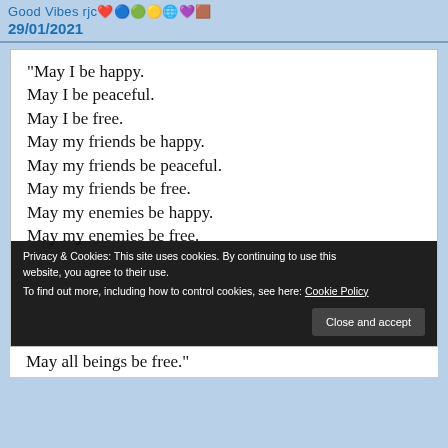Good Vibes rjc 29/01/2021
[Figure (screenshot): White card image containing a poem/affirmation text in large serif font reading: "May I be happy. May I be peaceful. May I be free. May my friends be happy. May my friends be peaceful. May my friends be free. May my enemies be happy. May my enemies be free." with last visible line "May all beings be free."]
Privacy & Cookies: This site uses cookies. By continuing to use this website, you agree to their use.
To find out more, including how to control cookies, see here: Cookie Policy
Close and accept